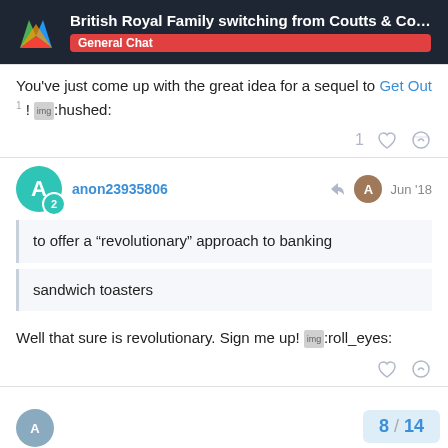British Royal Family switching from Coutts & Co... — General Chat
You've just come up with the great idea for a sequel to Get Out ! 🤫
anon23935806 — Jun '18
to offer a "revolutionary" approach to banking
sandwich toasters
Well that sure is revolutionary. Sign me up! 🙄
8 / 14